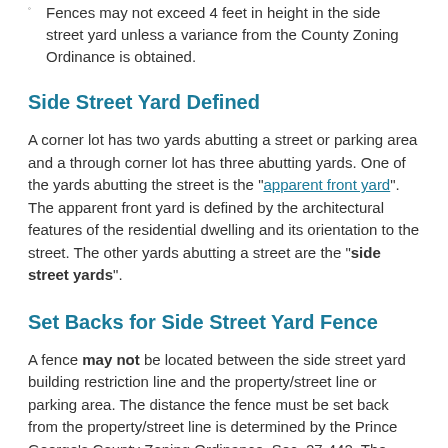Fences may not exceed 4 feet in height in the side street yard unless a variance from the County Zoning Ordinance is obtained.
Side Street Yard Defined
A corner lot has two yards abutting a street or parking area and a through corner lot has three abutting yards. One of the yards abutting the street is the "apparent front yard". The apparent front yard is defined by the architectural features of the residential dwelling and its orientation to the street. The other yards abutting a street are the "side street yards".
Set Backs for Side Street Yard Fence
A fence may not be located between the side street yard building restriction line and the property/street line or parking area. The distance the fence must be set back from the property/street line is determined by the Prince George's County Zoning Ordinance, Sec. 27-442. The building restriction line (also known as the building line or required